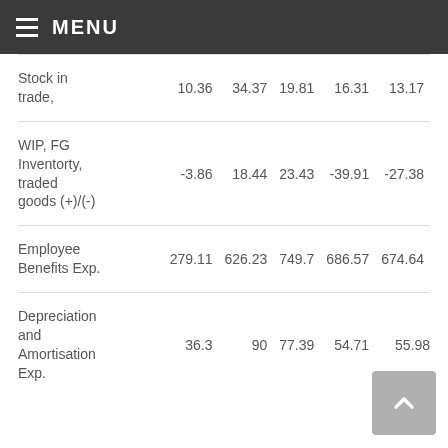MENU
|  |  |  |  |  |  |
| --- | --- | --- | --- | --- | --- |
| Stock in trade, | 10.36 | 34.37 | 19.81 | 16.31 | 13.17 |
| WIP, FG Inventorty, traded goods (+)/(-) | -3.86 | 18.44 | 23.43 | -39.91 | -27.38 |
| Employee Benefits Exp. | 279.11 | 626.23 | 749.7 | 686.57 | 674.64 |
| Depreciation and Amortisation Exp. | 36.3 | 90 | 77.39 | 54.71 | 55.98 |